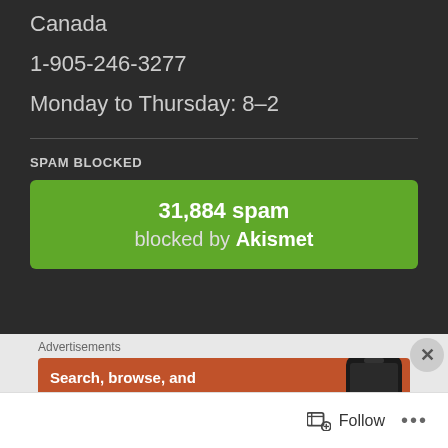Canada
1-905-246-3277
Monday to Thursday: 8-2
SPAM BLOCKED
31,884 spam blocked by Akismet
Advertisements
Search, browse, and email with more privacy.
All in One Free App
Follow